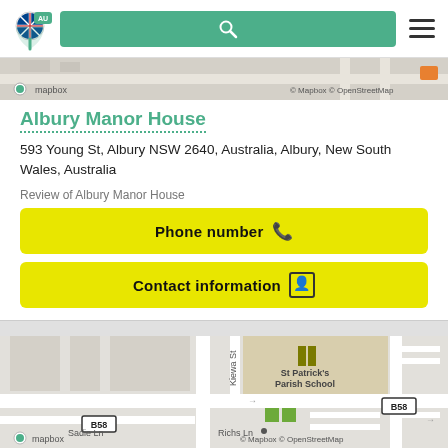[Figure (screenshot): Navigation bar with logo (AU flag pin), green search bar with magnifier icon, and hamburger menu]
[Figure (map): Partial map strip at top showing Mapbox / OpenStreetMap attribution]
Albury Manor House
593 Young St, Albury NSW 2640, Australia, Albury, New South Wales, Australia
Review of Albury Manor House
Phone number
Contact information
[Figure (map): Street map showing St Patrick's Parish School, Kiewa St, B58 road markers, Sadie Ln, Richs Ln, with Mapbox / OpenStreetMap attribution]